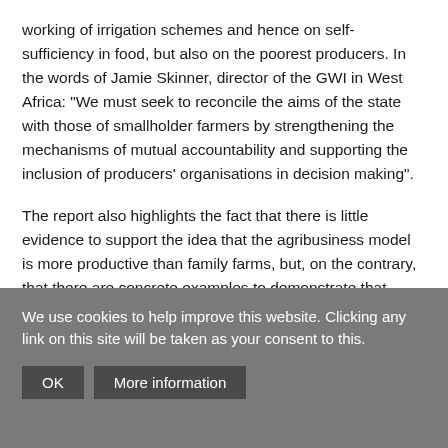working of irrigation schemes and hence on self-sufficiency in food, but also on the poorest producers. In the words of Jamie Skinner, director of the GWI in West Africa: "We must seek to reconcile the aims of the state with those of smallholder farmers by strengthening the mechanisms of mutual accountability and supporting the inclusion of producers' organisations in decision making".
The report also highlights the fact that there is little evidence to support the idea that the agribusiness model is more productive than family farms, but, on the contrary, that there are concrete examples to demonstrate that these farms can be highly efficient. However, this depends on their having access
We use cookies to help improve this website. Clicking any link on this site will be taken as your consent to this.